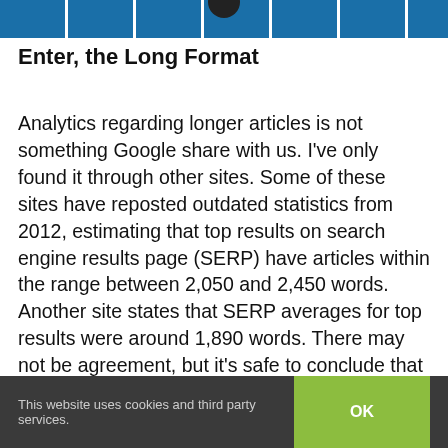[Figure (other): Blue decorative header banner with circular icon at top of page]
Enter, the Long Format
Analytics regarding longer articles is not something Google share with us. I've only found it through other sites. Some of these sites have reposted outdated statistics from 2012, estimating that top results on search engine results page (SERP) have articles within the range between 2,050 and 2,450 words. Another site states that SERP averages for top results were around 1,890 words. There may not be agreement, but it's safe to conclude that long format dominates the top search results and averages around
This website uses cookies and third party services.